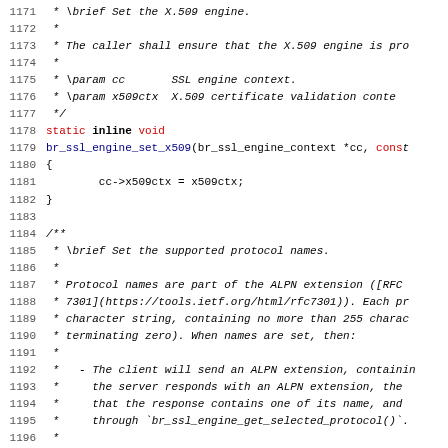Source code listing lines 1171-1202, showing documentation comments and function definition for br_ssl_engine_set_x509 and beginning of br_ssl_engine_set protocol names documentation